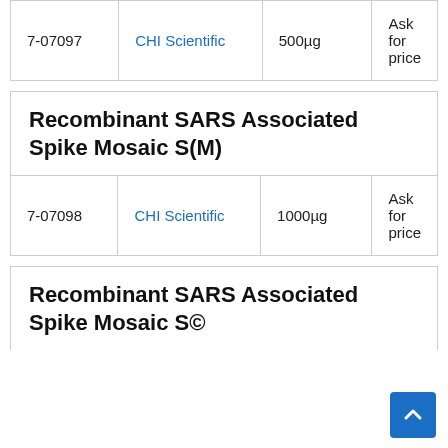| Cat# | Supplier | Quantity | Price |
| --- | --- | --- | --- |
| 7-07097 | CHI Scientific | 500µg | Ask for price |
Recombinant SARS Associated Spike Mosaic S(M)
| Cat# | Supplier | Quantity | Price |
| --- | --- | --- | --- |
| 7-07098 | CHI Scientific | 1000µg | Ask for price |
Recombinant SARS Associated Spike Mosaic S©